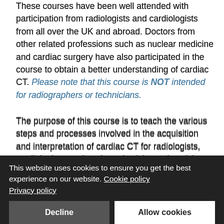These courses have been well attended with participation from radiologists and cardiologists from all over the UK and abroad. Doctors from other related professions such as nuclear medicine and cardiac surgery have also participated in the course to obtain a better understanding of cardiac CT. Please note that this course is NOT intended for radiographers or technicians.
The purpose of this course is to teach the various steps and processes involved in the acquisition and interpretation of cardiac CT for radiologists, cardiologists, and nuclear physicians who wish to independently report Cardiac CT. The participants learn a systematic way to review and interpret a large amount of data available from a single cardiac CT study, which can be very overwhelming. We also wish to...
To access the lectures on an online learning platform. Prerequisites: required to complete before attending...
This website uses cookies to ensure you get the best experience on our website. Cookie policy Privacy policy